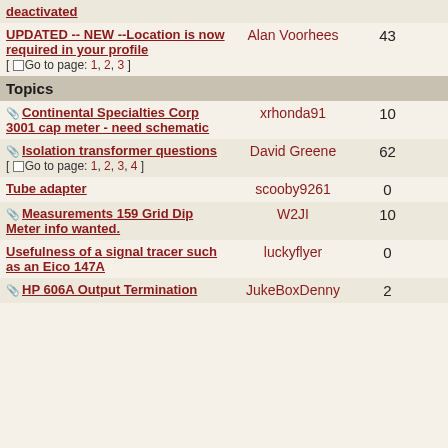| Topic | Author | Replies | Views |
| --- | --- | --- | --- |
| UPDATED -- NEW --Location is now required in your profile [Go to page: 1, 2, 3] | Alan Voorhees | 43 | 10936 |
| Topics |  |  |  |
| Continental Specialties Corp 3001 cap meter - need schematic | xrhonda91 | 10 | 752 |
| Isolation transformer questions [Go to page: 1, 2, 3, 4] | David Greene | 62 | 2080 |
| Tube adapter | scooby9261 | 0 | 5 |
| Measurements 159 Grid Dip Meter info wanted. | W2JI | 10 | 257 |
| Usefulness of a signal tracer such as an Eico 147A | luckyflyer | 0 | 17 |
| HP 606A Output Termination | JukeBoxDenny | 2 | 44 |